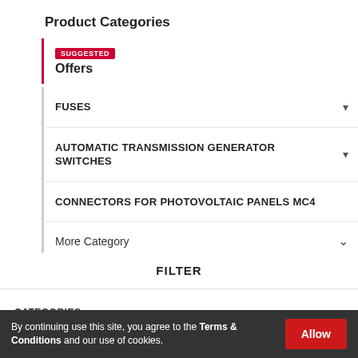Product Categories
SUGGESTED Offers
FUSES
AUTOMATIC TRANSMISSION GENERATOR SWITCHES
CONNECTORS FOR PHOTOVOLTAIC PANELS MC4
More Category
FILTER
CATEGORIES
By continuing use this site, you agree to the Terms & Conditions and our use of cookies.